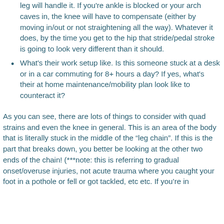leg will handle it. If you're ankle is blocked or your arch caves in, the knee will have to compensate (either by moving in/out or not straightening all the way). Whatever it does, by the time you get to the hip that stride/pedal stroke is going to look very different than it should.
What's their work setup like. Is this someone stuck at a desk or in a car commuting for 8+ hours a day? If yes, what's their at home maintenance/mobility plan look like to counteract it?
As you can see, there are lots of things to consider with quad strains and even the knee in general. This is an area of the body that is literally stuck in the middle of the “leg chain”. If this is the part that breaks down, you better be looking at the other two ends of the chain! (***note: this is referring to gradual onset/overuse injuries, not acute trauma where you caught your foot in a pothole or fell or got tackled, etc etc. If you’re in